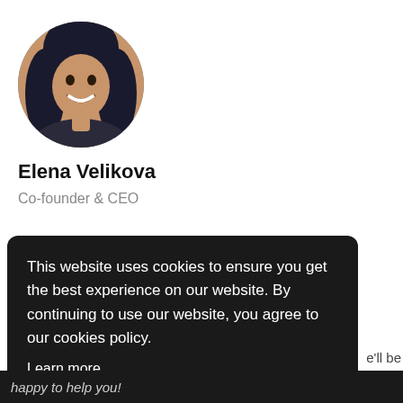[Figure (photo): Circular cropped profile photo of Elena Velikova, a woman with dark hair, smiling]
Elena Velikova
Co-founder & CEO
This website uses cookies to ensure you get the best experience on our website. By continuing to use our website, you agree to our cookies policy.
Learn more
I understand
happy to help you!